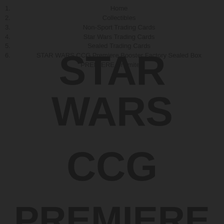1. Home
2. Collectibles
3. Non-Sport Trading Cards
4. Star Wars Trading Cards
5. Sealed Trading Cards
6. STAR WARS CCG Premiere Booster Factory Sealed Box PREMIERE Unlimited
STAR WARS CCG PREMIERE